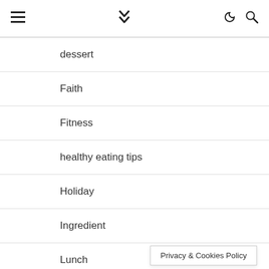≡ ❯❯ ☾ 🔍
dessert
Faith
Fitness
healthy eating tips
Holiday
Ingredient
Lunch
Main Course
Privacy & Cookies Policy